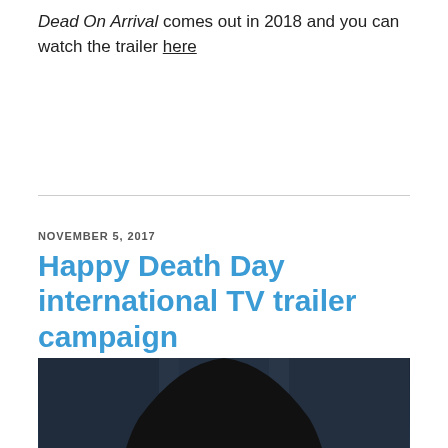Dead On Arrival comes out in 2018 and you can watch the trailer here
NOVEMBER 5, 2017
Happy Death Day international TV trailer campaign
[Figure (photo): A person wearing a creepy baby face mask with a black hoodie, photographed in a dark parking garage setting. The mask has wide blue eyes, chubby cheeks, and an open mouth smile showing teeth.]